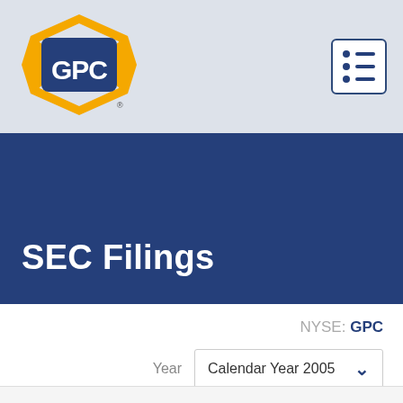[Figure (logo): GPC (Genuine Parts Company) hexagonal logo in yellow and blue]
SEC Filings
NYSE: GPC
Year  Calendar Year 2005